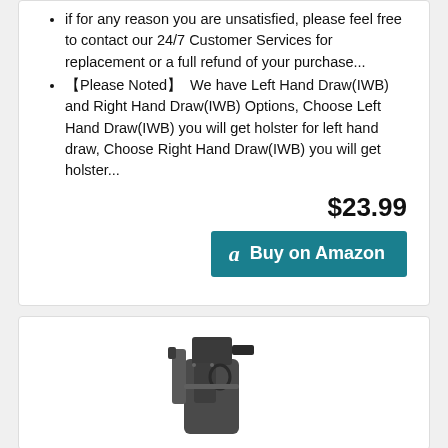if for any reason you are unsatisfied, please feel free to contact our 24/7 Customer Services for replacement or a full refund of your purchase...
【Please Noted】 We have Left Hand Draw(IWB) and Right Hand Draw(IWB) Options, Choose Left Hand Draw(IWB) you will get holster for left hand draw, Choose Right Hand Draw(IWB) you will get holster...
$23.99
[Figure (other): Buy on Amazon button with Amazon logo]
[Figure (photo): Product photo of a black gun holster with a handgun inserted, shown from a front/side angle]